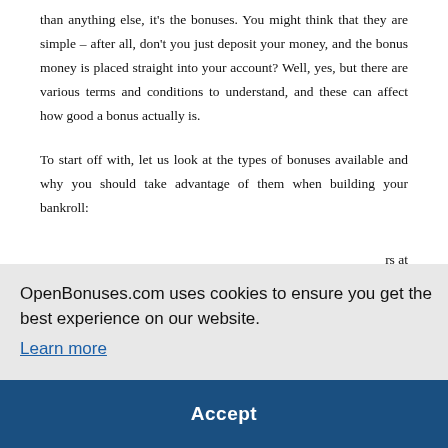than anything else, it's the bonuses. You might think that they are simple – after all, don't you just deposit your money, and the bonus money is placed straight into your account? Well, yes, but there are various terms and conditions to understand, and these can affect how good a bonus actually is.
To start off with, let us look at the types of bonuses available and why you should take advantage of them when building your bankroll:
[partially obscured] rs at [partially obscured] gest [partially obscured] ses [partially obscured] site- [partially obscured] king deposits over a certain amount eg. extra credit for deposits
OpenBonuses.com uses cookies to ensure you get the best experience on our website. Learn more
Accept